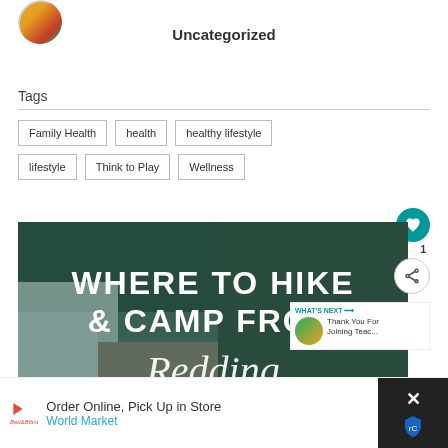[Figure (photo): Circular avatar photo with colorful image]
Uncategorized
Tags
Family Health
health
healthy lifestyle
lifestyle
Think to Play
Wellness
[Figure (photo): Hero image with text 'WHERE TO HIKE & CAMP FROM... Redding' overlaid on forest/waterfall background]
WHAT'S NEXT → Thank You For Joining Teac...
Order Online, Pick Up in Store
World Market